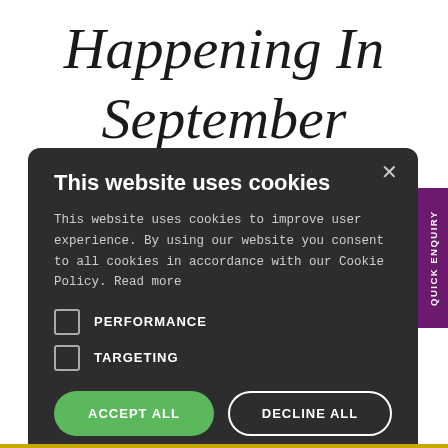Happening In September
...rent people. ...r others, it ...a few, it ...day. ...xciting events ...four that you ...may want to
[Figure (screenshot): Cookie consent modal dialog with dark background. Title: 'This website uses cookies'. Body text about cookie policy. Two checkboxes: PERFORMANCE and TARGETING. Two buttons: ACCEPT ALL (green) and DECLINE ALL (outlined). Show Details link with gear icon. Close (X) button top right.]
QUICK ENQUIRY